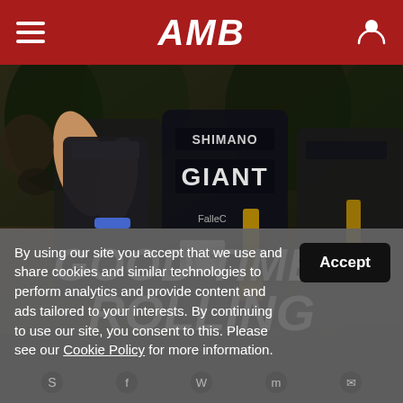AMB
[Figure (photo): Cyclists in black team jerseys with Giant and Shimano branding celebrating at what appears to be a race event, with lanyards and race numbers visible]
GOOD TIMES ROLLING
By using our site you accept that we use and share cookies and similar technologies to perform analytics and provide content and ads tailored to your interests. By continuing to use our site, you consent to this. Please see our Cookie Policy for more information.